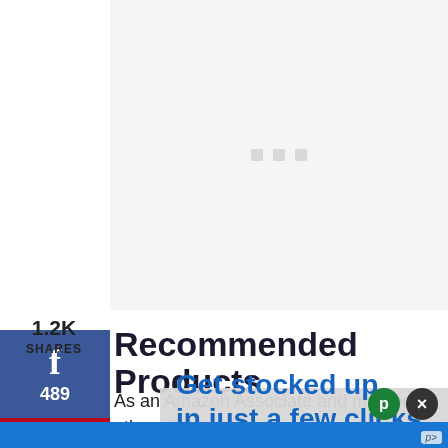[Figure (other): Ad loading placeholder with three small grey squares on light grey background]
[Figure (other): Facebook share button with 'f' icon and count 489]
[Figure (other): Pinterest share button with 'p' icon and count 752]
1.2K
SHARES
Recommended Products
As an Amazon Associate and member of other affiliate programs, Learn from qualifying purchases.
[Figure (other): Advertisement overlay: 'Get stocked up in just a few clicks' with subtext 'No markups or hidden fees.' and 'Swipe up to expand' button]